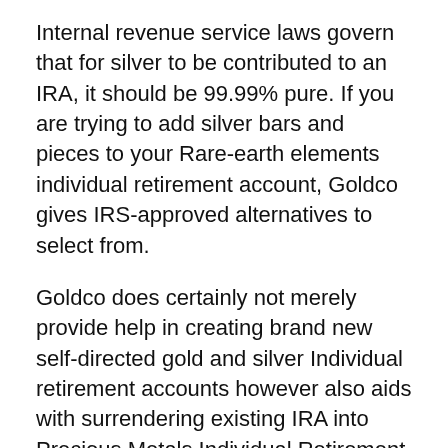Internal revenue service laws govern that for silver to be contributed to an IRA, it should be 99.99% pure. If you are trying to add silver bars and pieces to your Rare-earth elements individual retirement account, Goldco gives IRS-approved alternatives to select from.
Goldco does certainly not merely provide help in creating brand new self-directed gold and silver Individual retirement accounts however also aids with surrendering existing IRA into Precious Metals Individual Retirement Account. Various retirement accounts are actually entitled for a rollover. A rep from the provider can assist you and also supply you along with additional info about the procedure.